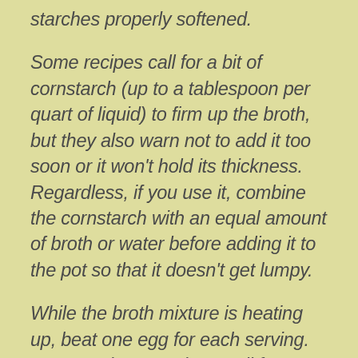starches properly softened.
Some recipes call for a bit of cornstarch (up to a tablespoon per quart of liquid) to firm up the broth, but they also warn not to add it too soon or it won't hold its thickness. Regardless, if you use it, combine the cornstarch with an equal amount of broth or water before adding it to the pot so that it doesn't get lumpy.
While the broth mixture is heating up, beat one egg for each serving. Some recipes out there call for whole eggs,